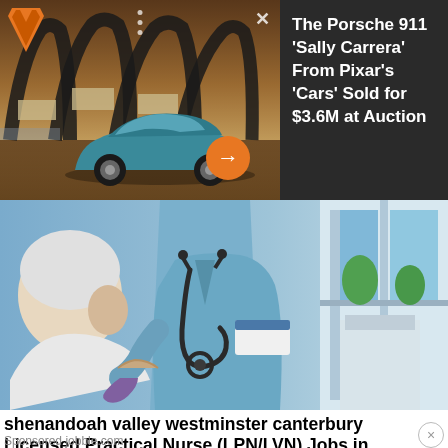[Figure (photo): Advertisement showing a blue Porsche 911 car in a scenic desert/sunset setting with arched structures in the background. Dark overlay with orange logo top-left, dots and X icons, orange arrow button. Right side has dark background with white headline text.]
The Porsche 911 'Sally Carrera' From Pixar's 'Cars' Sold for $3.6M at Auction
[Figure (photo): Photo of a nurse in blue scrubs with a stethoscope attending to an elderly patient. Medical/healthcare setting.]
shenandoah valley westminster canterbury Licensed Practical Nurse (LPN/LVN) Jobs in...
Sponsored jobble.com